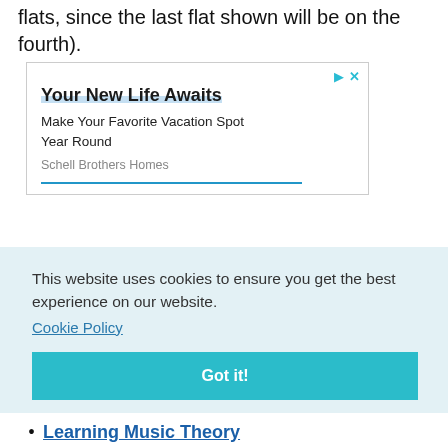flats, since the last flat shown will be on the fourth).
[Figure (screenshot): Advertisement box with play and close icons. Headline: 'Your New Life Awaits'. Subtext: 'Make Your Favorite Vacation Spot Year Round'. Brand: 'Schell Brothers Homes'. Blue underline bar at bottom.]
This website uses cookies to ensure you get the best experience on our website.
Cookie Policy
Got it!
Learning Music Theory